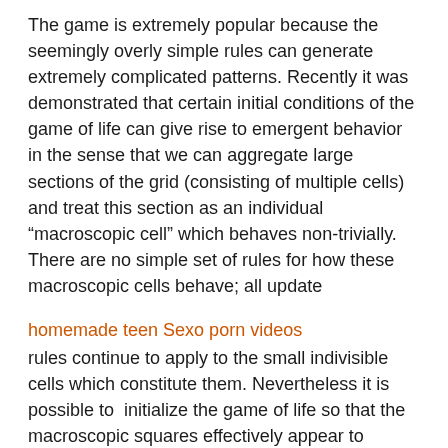The game is extremely popular because the seemingly overly simple rules can generate extremely complicated patterns. Recently it was demonstrated that certain initial conditions of the game of life can give rise to emergent behavior in the sense that we can aggregate large sections of the grid (consisting of multiple cells) and treat this section as an individual “macroscopic cell” which behaves non-trivially. There are no simple set of rules for how these macroscopic cells behave; all update
homemade teen Sexo porn videos
rules continue to apply to the small indivisible cells which constitute them. Nevertheless it is possible to  initialize the game of life so that the macroscopic squares effectively appear to evolve according to conditions (1) and (2). There is quite a spellbinding example of this available here. Check it out as it is unbelievable at first sight.